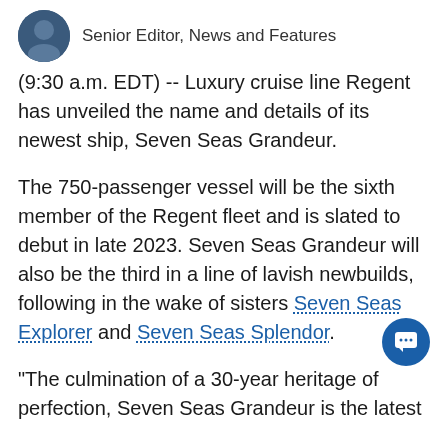Senior Editor, News and Features
(9:30 a.m. EDT) -- Luxury cruise line Regent has unveiled the name and details of its newest ship, Seven Seas Grandeur.
The 750-passenger vessel will be the sixth member of the Regent fleet and is slated to debut in late 2023. Seven Seas Grandeur will also be the third in a line of lavish newbuilds, following in the wake of sisters Seven Seas Explorer and Seven Seas Splendor.
"The culmination of a 30-year heritage of perfection, Seven Seas Grandeur is the latest